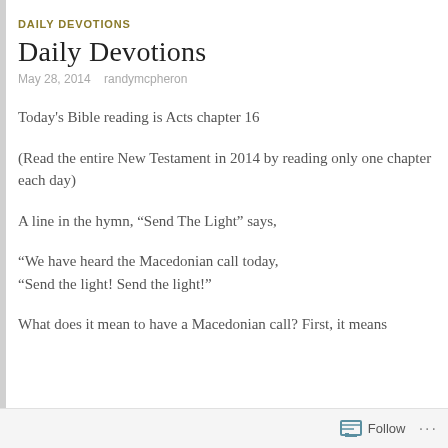DAILY DEVOTIONS
Daily Devotions
May 28, 2014   randymcpheron
Today's Bible reading is Acts chapter 16
(Read the entire New Testament in 2014 by reading only one chapter each day)
A line in the hymn, “Send The Light” says,
“We have heard the Macedonian call today,
“Send the light! Send the light!”
What does it mean to have a Macedonian call? First, it means
Follow